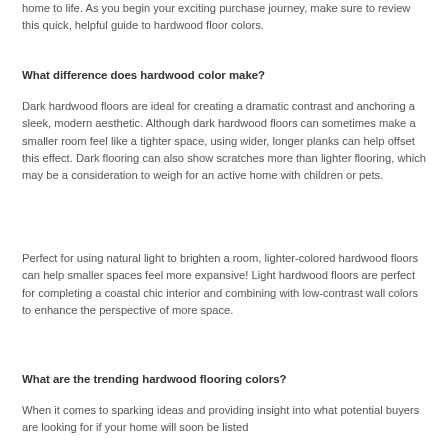home to life. As you begin your exciting purchase journey, make sure to review this quick, helpful guide to hardwood floor colors.
What difference does hardwood color make?
Dark hardwood floors are ideal for creating a dramatic contrast and anchoring a sleek, modern aesthetic. Although dark hardwood floors can sometimes make a smaller room feel like a tighter space, using wider, longer planks can help offset this effect. Dark flooring can also show scratches more than lighter flooring, which may be a consideration to weigh for an active home with children or pets.
Perfect for using natural light to brighten a room, lighter-colored hardwood floors can help smaller spaces feel more expansive! Light hardwood floors are perfect for completing a coastal chic interior and combining with low-contrast wall colors to enhance the perspective of more space.
What are the trending hardwood flooring colors?
When it comes to sparking ideas and providing insight into what potential buyers are looking for if your home will soon be listed